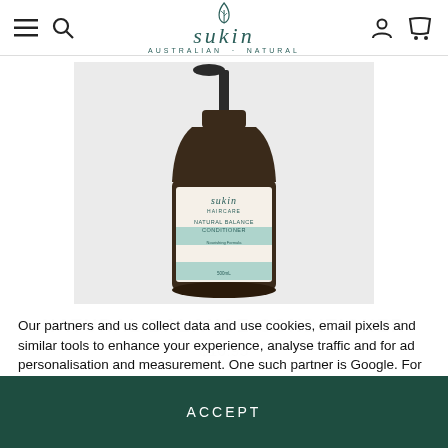Sukin — Australian Natural
[Figure (photo): A large dark amber pump bottle of Sukin Natural Balance Conditioner with a white and mint green label, shown against a light grey background.]
NATURAL BALANCE CONDITIONER
$10.95
Our partners and us collect data and use cookies, email pixels and similar tools to enhance your experience, analyse traffic and for ad personalisation and measurement. One such partner is Google. For more information see our cookie policy.
ACCEPT